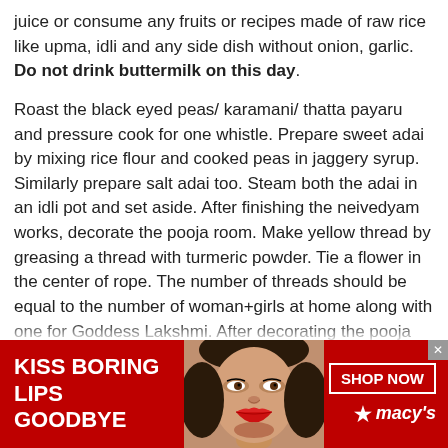juice or consume any fruits or recipes made of raw rice like upma, idli and any side dish without onion, garlic. Do not drink buttermilk on this day.
Roast the black eyed peas/ karamani/ thatta payaru and pressure cook for one whistle. Prepare sweet adai by mixing rice flour and cooked peas in jaggery syrup. Similarly prepare salt adai too. Steam both the adai in an idli pot and set aside. After finishing the neivedyam works, decorate the pooja room. Make yellow thread by greasing a thread with turmeric powder. Tie a flower in the center of rope. The number of threads should be equal to the number of woman+girls at home along with one for Goddess Lakshmi. After decorating the pooja room, light the lamps.
At the time of pooja, wear a silk saree. Keep the Nombu adai with umelted butter on top of adai in the middle of banana leaf or a plate.  Keep the broken coconut, betel
[Figure (infographic): Advertisement banner for Macy's lipstick product. Red background with white text 'KISS BORING LIPS GOODBYE' on the left, a photo of a woman's face with red lipstick in the center, and 'SHOP NOW' button with Macy's star logo on the right.]